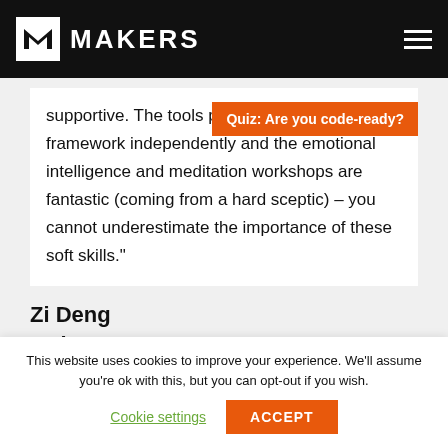MAKERS
supportive. The tools pick up any language or framework independently and the emotional intelligence and meditation workshops are fantastic (coming from a hard sceptic) – you cannot underestimate the importance of these soft skills."
[Figure (infographic): Orange banner overlay reading: Quiz: Are you code-ready?]
Zi Deng
Makers 2019
This website uses cookies to improve your experience. We'll assume you're ok with this, but you can opt-out if you wish.
Cookie settings   ACCEPT